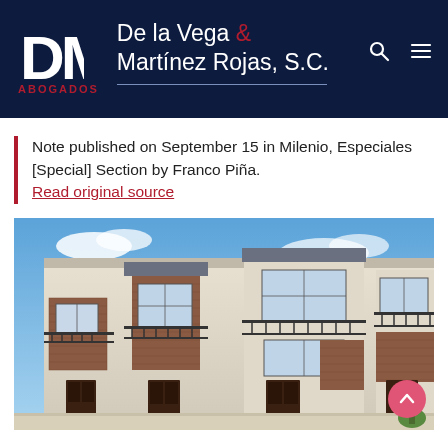De la Vega & Martínez Rojas, S.C. — ABOGADOS
Note published on September 15 in Milenio, Especiales [Special] Section by Franco Piña.
Read original source
[Figure (photo): Exterior photo of a modern multi-story residential townhouse complex with brick and white stucco facade, balconies with metal railings, and multiple front doors under a blue sky.]